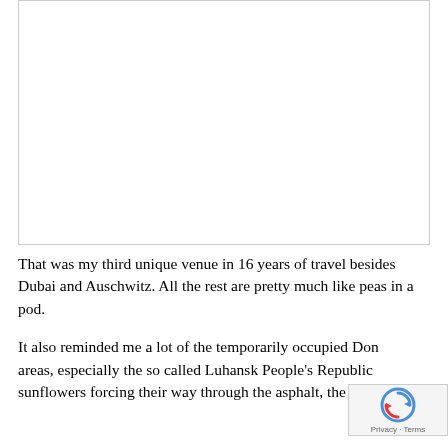[Figure (other): White rectangular image placeholder area with thin border]
That was my third unique venue in 16 years of travel besides Dubai and Auschwitz. All the rest are pretty much like peas in a pod.
It also reminded me a lot of the temporarily occupied Donetsk areas, especially the so called Luhansk People's Republic sunflowers forcing their way through the asphalt, the old Soviet (Deliberately unclear, text cut off)